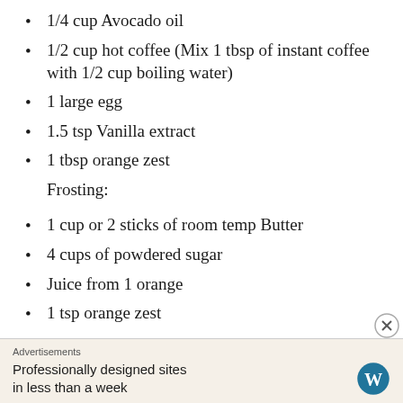1/4 cup Avocado oil
1/2 cup hot coffee (Mix 1 tbsp of instant coffee with 1/2 cup boiling water)
1 large egg
1.5 tsp Vanilla extract
1 tbsp orange zest
Frosting:
1 cup or 2 sticks of room temp Butter
4 cups of powdered sugar
Juice from 1 orange
1 tsp orange zest
DIRECTIONS
1. Preheat oven to 350 degree F. Line 9 inch cake
Advertisements
Professionally designed sites in less than a week